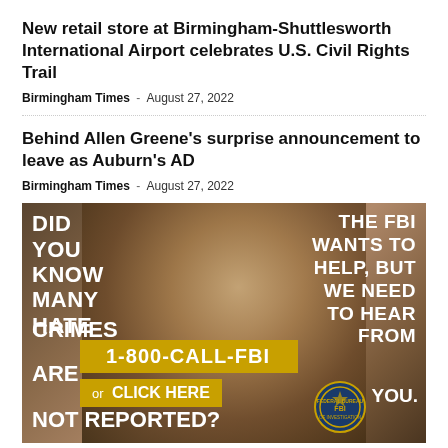New retail store at Birmingham-Shuttlesworth International Airport celebrates U.S. Civil Rights Trail
Birmingham Times - August 27, 2022
Behind Allen Greene's surprise announcement to leave as Auburn's AD
Birmingham Times - August 27, 2022
[Figure (infographic): FBI anti-hate-crime advertisement showing two women hugging. Text reads: 'DID YOU KNOW MANY HATE CRIMES ARE NOT REPORTED? THE FBI WANTS TO HELP, BUT WE NEED TO HEAR FROM YOU.' with phone number 1-800-CALL-FBI and a click here button, plus FBI seal.]